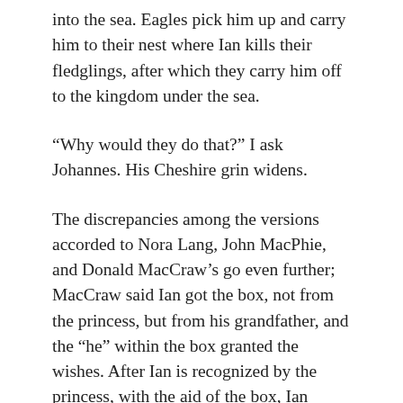into the sea. Eagles pick him up and carry him to their nest where Ian kills their fledglings, after which they carry him off to the kingdom under the sea.
“Why would they do that?” I ask Johannes. His Cheshire grin widens.
The discrepancies among the versions accorded to Nora Lang, John MacPhie, and Donald MacCraw’s go even further; MacCraw said Ian got the box, not from the princess, but from his grandfather, and the “he” within the box granted the wishes. After Ian is recognized by the princess, with the aid of the box, Ian creates a castle for them. A rival steals the snuffbox and carries the princess and the castle off to the realm of the rats.
Ian is helped by an old man, who gives him a magical boat and a cat. The cat, who I can’t help but suspect is